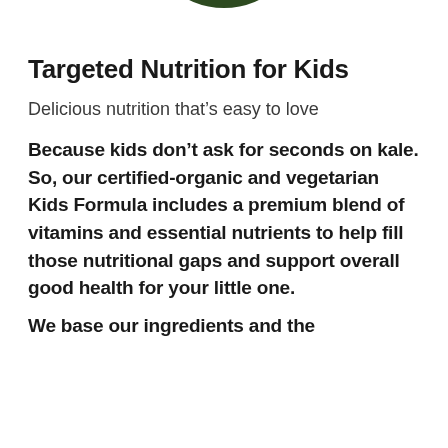[Figure (photo): Partial circular photo of leafy green plants/kale, cropped at the top of the page, only the bottom portion of the circle visible]
Targeted Nutrition for Kids
Delicious nutrition that’s easy to love
Because kids don’t ask for seconds on kale. So, our certified-organic and vegetarian Kids Formula includes a premium blend of vitamins and essential nutrients to help fill those nutritional gaps and support overall good health for your little one.
We base our ingredients and the